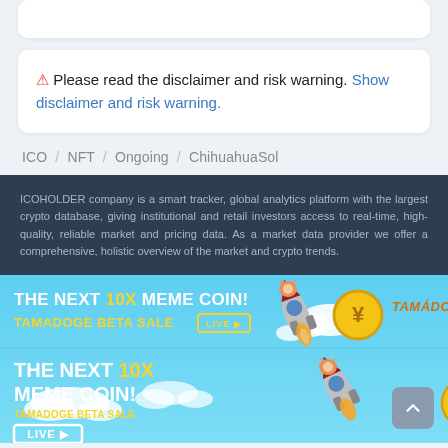⚠ Please read the disclaimer and risk warning. Show disclaimer and risk warning.
ICO / NFT / Ongoing / ChihuahuaSol
ICOHOLDER company is a smart tracker, global analytics platform with the largest crypto database, giving institutional and retail investors access to real-time, high-quality, reliable market and pricing data. As a market data provider we offer a comprehensive, holistic overview of the market and crypto trends.
[Figure (illustration): Tamadoge advertisement banner: THE NEXT 10X MEME COIN! TAMADOGE BETA SALE LIVE button and Tamadoge logo with coin and rocket illustration. Repeated in two sizes.]